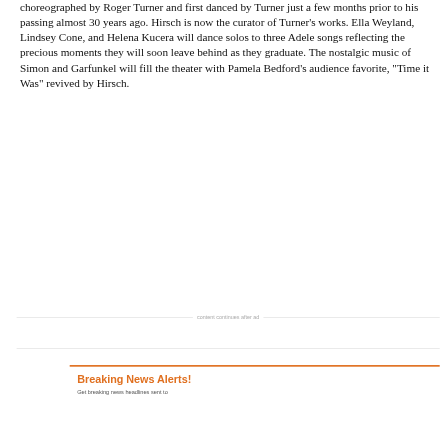choreographed by Roger Turner and first danced by Turner just a few months prior to his passing almost 30 years ago. Hirsch is now the curator of Turner's works. Ella Weyland, Lindsey Cone, and Helena Kucera will dance solos to three Adele songs reflecting the precious moments they will soon leave behind as they graduate. The nostalgic music of Simon and Garfunkel will fill the theater with Pamela Bedford's audience favorite, "Time it Was" revived by Hirsch.
content continues after ad
Breaking News Alerts!
Get breaking news headlines sent to